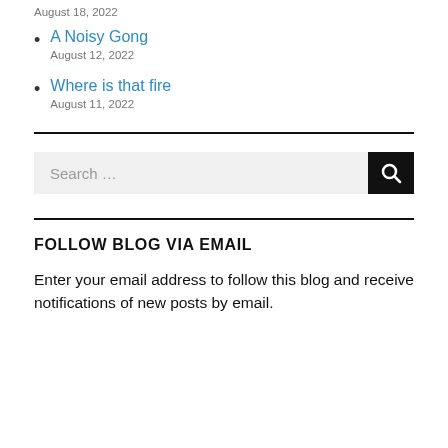August 18, 2022
A Noisy Gong
August 12, 2022
Where is that fire
August 11, 2022
[Figure (other): Search bar with text input field labeled 'Search …' and a black search button with magnifying glass icon]
FOLLOW BLOG VIA EMAIL
Enter your email address to follow this blog and receive notifications of new posts by email.